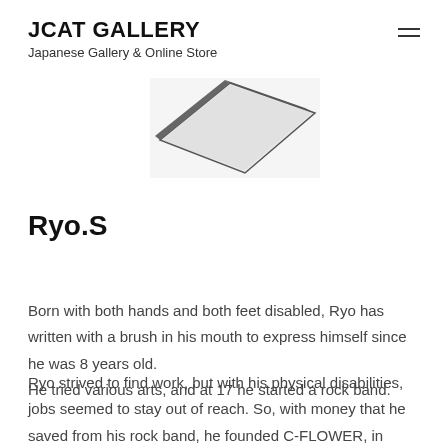JCAT GALLERY
Japanese Gallery & Online Store
[Figure (photo): Partial view of an artwork — a dark-edged canvas or board shown at an angle, corner pointing down, on a white background]
Ryo.S
Born with both hands and both feet disabled, Ryo has written with a brush in his mouth to express himself since he was 8 years old.
He tried various arts, and at 17 he started a rock band.
Ryo strived to find work, but with his physical disabilities, jobs seemed to stay out of reach. So, with money that he saved from his rock band, he founded C-FLOWER, in which